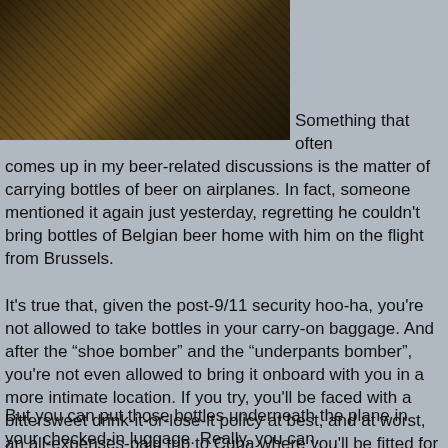[Figure (photo): A dark sepia-toned photograph showing what appears to be wooden barrels or casks in a dimly lit setting.]
Something that often comes up in my beer-related discussions is the matter of carrying bottles of beer on airplanes. In fact, someone mentioned it again just yesterday, regretting he couldn't bring bottles of Belgian beer home with him on the flight from Brussels.
It's true that, given the post-9/11 security hoo-ha, you're not allowed to take bottles in your carry-on baggage. And after the “shoe bomber” and the “underpants bomber”, you're not even allowed to bring it onboard with you in a more intimate location. If you try, you'll be faced with a bittersweet drink-it-or-lose-it policy at best, and at worst, an all-expenses-paid trip to Cuba where you'll be fitted for an unfashionable orange jumpsuit and given extremely limited access any to Belgian beer whatsoever.
But you can put those bottles underneath the plane in your checked-in luggage. Really, you can.